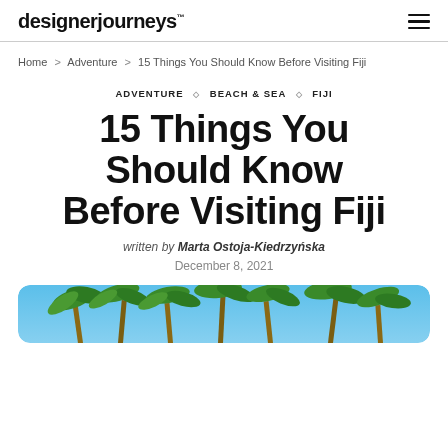designerjourneys™
Home > Adventure > 15 Things You Should Know Before Visiting Fiji
ADVENTURE ◇ BEACH & SEA ◇ FIJI
15 Things You Should Know Before Visiting Fiji
written by Marta Ostoja-Kiedrzyńska
December 8, 2021
[Figure (photo): Tropical beach scene with palm trees and blue sky, partially visible at the bottom of the page]